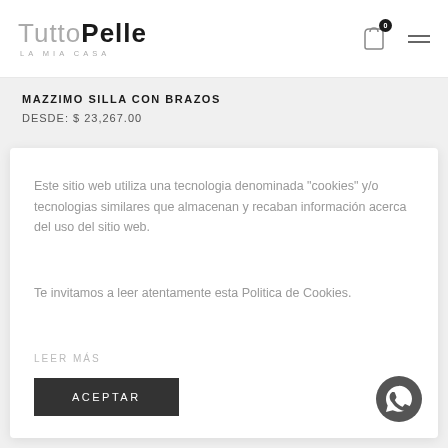[Figure (logo): TuttoPelle LA MIA CASA logo — grey 'Tutto' and bold dark 'Pelle' wordmark with subtitle 'LA MIA CASA']
[Figure (other): Shopping bag icon with badge showing '0' and hamburger menu icon]
MAZZIMO SILLA CON BRAZOS
DESDE: $ 23,267.00
Este sitio web utiliza una tecnologia denominada "cookies" y/o tecnologias similares que almacenan y recaban información acerca del uso del sitio web.
Te invitamos a leer atentamente esta Politica de Cookies.
LEER MÁS
ACEPTAR
[Figure (other): WhatsApp floating button icon in dark circle]